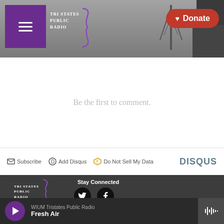[Figure (screenshot): Tri States Public Radio website header with logo, hamburger menu, and red Donate button over a grayscale background photo of a radio tower]
Be the first to comment.
Subscribe  Add Disqus  Do Not Sell My Data  DISQUS
[Figure (logo): Tri States Public Radio logo in footer]
Stay Connected
[Figure (illustration): Twitter and Facebook social media icon buttons]
WIUM Tristates Public Radio
Fresh Air